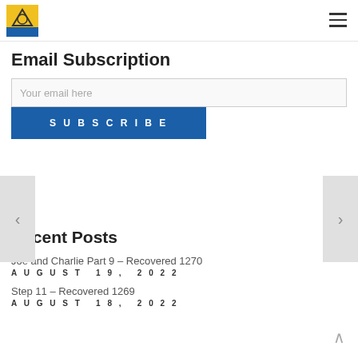Logo | Hamburger menu
Email Subscription
Your email here
SUBSCRIBE
Recent Posts
Joe and Charlie Part 9 – Recovered 1270
AUGUST 19, 2022
Step 11 – Recovered 1269
AUGUST 18, 2022